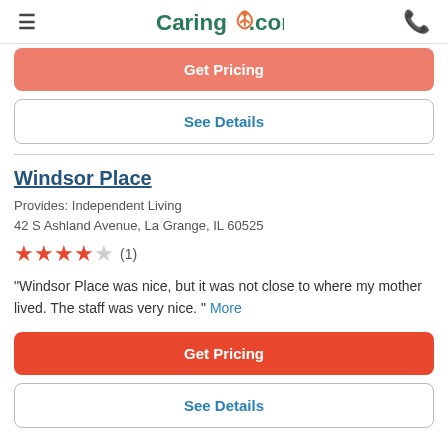Caring.com
Get Pricing
See Details
Windsor Place
Provides: Independent Living
42 S Ashland Avenue, La Grange, IL 60525
★★★★☆ (1)
"Windsor Place was nice, but it was not close to where my mother lived. The staff was very nice. " More
Get Pricing
See Details